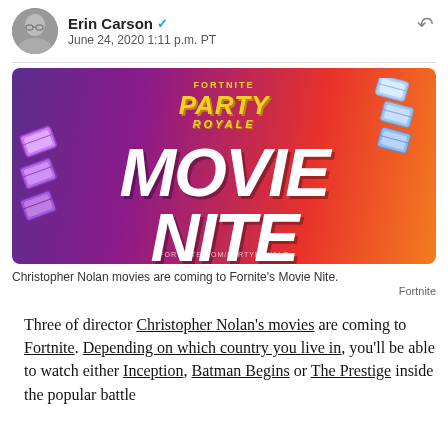Erin Carson — June 24, 2020 1:11 p.m. PT
[Figure (photo): Fortnite Party Royale Movie Nite promotional banner with gradient background from purple to red-orange, featuring large white bold italic text 'MOVIE NITE', yellow 'PARTY ROYALE' logo at top, and ticket icons on left and right sides.]
Christopher Nolan movies are coming to Fornite's Movie Nite.
Fortnite
Three of director Christopher Nolan's movies are coming to Fortnite. Depending on which country you live in, you'll be able to watch either Inception, Batman Begins or The Prestige inside the popular battle